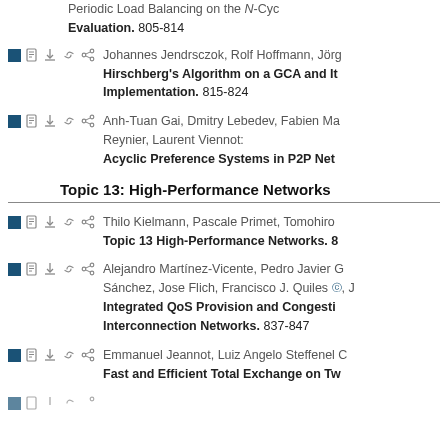Periodic Load Balancing on the N-Cycle Evaluation. 805-814
Johannes Jendrsczok, Rolf Hoffmann, Jörg... Hirschberg's Algorithm on a GCA and Its Implementation. 815-824
Anh-Tuan Gai, Dmitry Lebedev, Fabien Ma... Reynier, Laurent Viennot: Acyclic Preference Systems in P2P Netw...
Topic 13: High-Performance Networks
Thilo Kielmann, Pascale Primet, Tomohiro... Topic 13 High-Performance Networks. 8...
Alejandro Martínez-Vicente, Pedro Javier G... Sánchez, Jose Flich, Francisco J. Quiles, J... Integrated QoS Provision and Congesti... Interconnection Networks. 837-847
Emmanuel Jeannot, Luiz Angelo Steffenel C... Fast and Efficient Total Exchange on Tw...